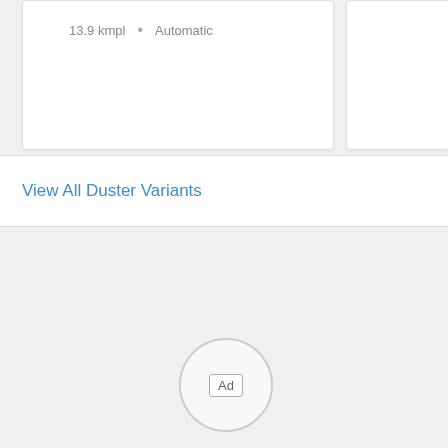13.9 kmpl • Automatic
View All Duster Variants
[Figure (other): Ad placeholder circle with 'Ad' label inside a rounded rectangle, centered in a light gray area]